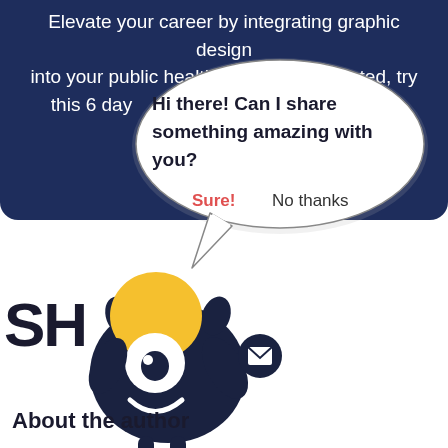Elevate your career by integrating graphic design into your public health work. To get started, try this 6 day ... that helps you
[Figure (illustration): A chat/popup dialog bubble overlaying the dark blue banner, containing bold text 'Hi there! Can I share something amazing with you?' with 'Sure!' in red and 'No thanks' in dark, with a speech bubble tail pointing down-left toward a mascot character.]
[Figure (illustration): A cartoon mascot character: dark navy blue round bird/owl-like creature with a large white eye, yellow round head/hat, holding a mail envelope icon, with legs, set against white background. Partially covered text 'SH' visible to its left.]
About the author